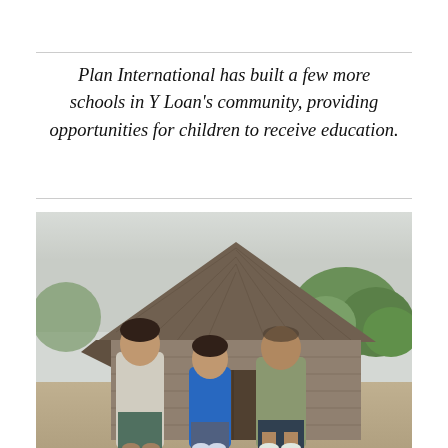Plan International has built a few more schools in Y Loan's community, providing opportunities for children to receive education.
[Figure (photo): Three people — a woman on the left wearing a light-colored top and patterned trousers, a young girl in the middle wearing a blue polo shirt with jeans, and an older man on the right wearing an olive shirt and dark shorts — standing together smiling in front of a weathered wooden barn or house structure, with green trees visible in the background. The setting appears to be a rural village.]